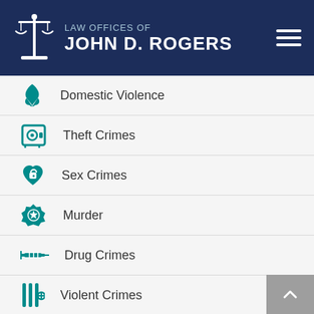[Figure (logo): Law Offices of John D. Rogers logo with scales of justice icon and text]
Domestic Violence
Theft Crimes
Sex Crimes
Murder
Drug Crimes
Violent Crimes
Writs & Appeals